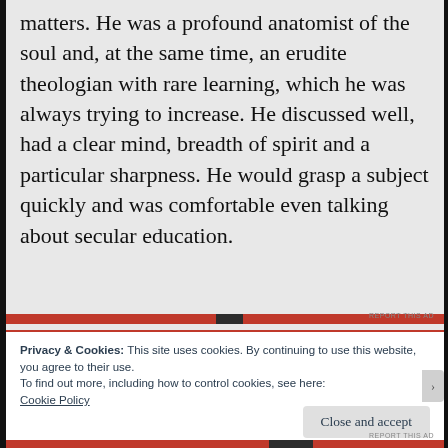matters. He was a profound anatomist of the soul and, at the same time, an erudite theologian with rare learning, which he was always trying to increase. He discussed well, had a clear mind, breadth of spirit and a particular sharpness. He would grasp a subject quickly and was comfortable even talking about secular education.
Privacy & Cookies: This site uses cookies. By continuing to use this website, you agree to their use.
To find out more, including how to control cookies, see here: Cookie Policy